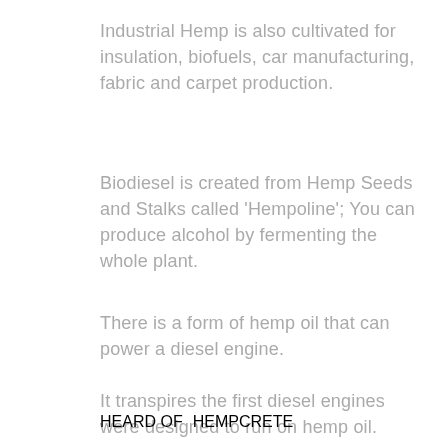Industrial Hemp is also cultivated for insulation, biofuels, car manufacturing, fabric and carpet production.
Biodiesel is created from Hemp Seeds and Stalks called ‘Hempoline’; You can produce alcohol by fermenting the whole plant.
There is a form of hemp oil that can power a diesel engine.
It transpires the first diesel engines were designed to run on hemp oil.
HEARD OF HEMPCRETE